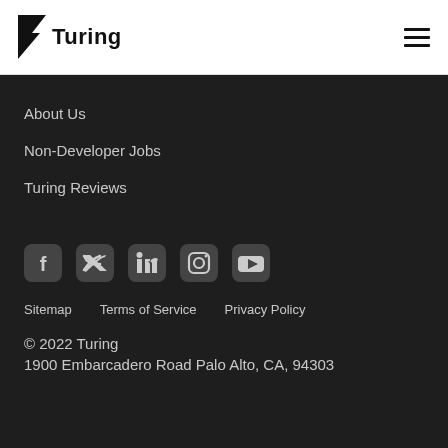Turing
About Us
Non-Developer Jobs
Turing Reviews
[Figure (illustration): Social media icons: Facebook, Twitter, LinkedIn, Instagram, YouTube]
Sitemap   Terms of Service   Privacy Policy
© 2022 Turing
1900 Embarcadero Road Palo Alto, CA, 94303